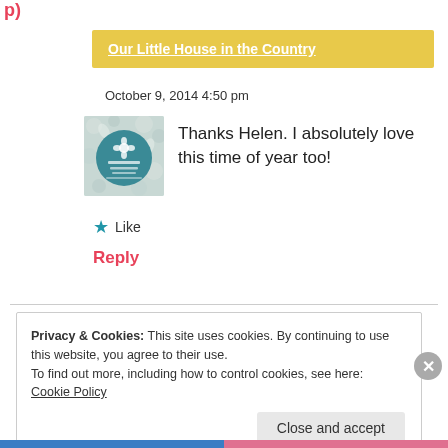p)
Our Little House in the Country
October 9, 2014 4:50 pm
[Figure (logo): Circular logo for 'Our Little House in the Country' with floral background and teal circle]
Thanks Helen. I absolutely love this time of year too!
★ Like
Reply
Privacy & Cookies: This site uses cookies. By continuing to use this website, you agree to their use.
To find out more, including how to control cookies, see here: Cookie Policy
Close and accept